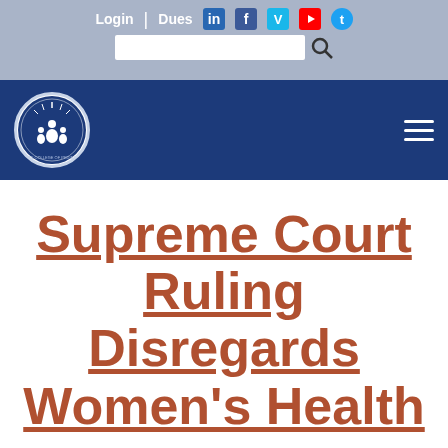Login | Dues [social icons] [search bar]
[Figure (logo): American College of Pediatricians circular seal logo on dark blue navigation bar with hamburger menu icon]
Supreme Court Ruling Disregards Women’s Health
JUNE 28, 2016